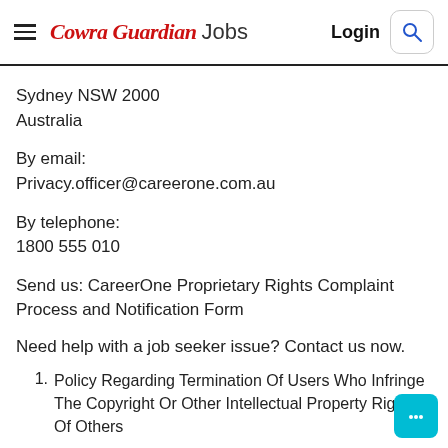Cowra Guardian Jobs | Login
Sydney NSW 2000
Australia
By email:
Privacy.officer@careerone.com.au
By telephone:
1800 555 010
Send us: CareerOne Proprietary Rights Complaint Process and Notification Form
Need help with a job seeker issue? Contact us now.
Policy Regarding Termination Of Users Who Infringe The Copyright Or Other Intellectual Property Rights Of Others